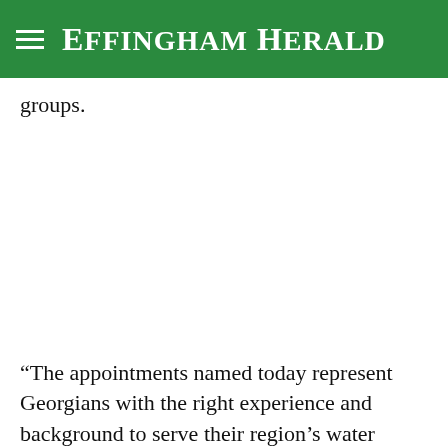Effingham Herald
groups.
“The appointments named today represent Georgians with the right experience and background to serve their region’s water needs,” Richardson said. “Their